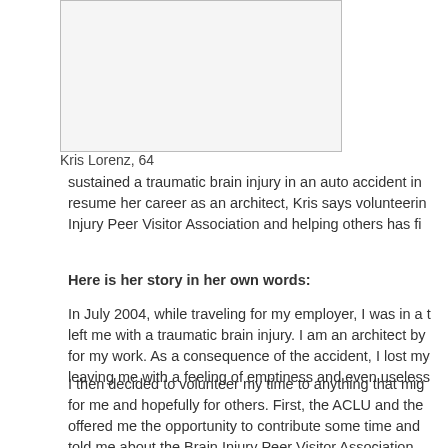[Figure (photo): Portrait photo of Kris Lorenz]
Kris Lorenz, 64
sustained a traumatic brain injury in an auto accident in resume her career as an architect, Kris says volunteerin Injury Peer Visitor Association and helping others has fi
Here is her story in her own words:
In July 2004, while traveling for my employer, I was in a t left me with a traumatic brain injury. I am an architect by for my work. As a consequence of the accident, I lost my leaving me with a feeling of emptiness and even useless
I then decided to volunteer my time to anything that mig for me and hopefully for others. First, the ACLU and the offered me the opportunity to contribute some time and told me about the Brain Injury Peer Visitor Association